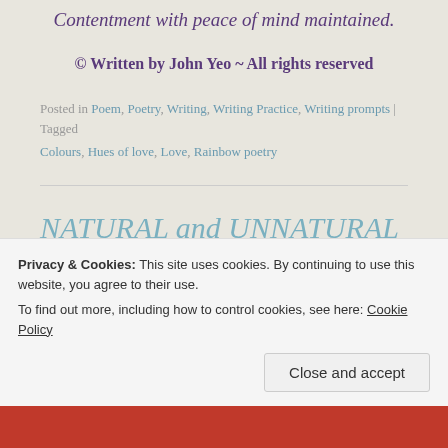Contentment with peace of mind maintained.
© Written by John Yeo ~ All rights reserved
Posted in Poem, Poetry, Writing, Writing Practice, Writing prompts | Tagged Colours, Hues of love, Love, Rainbow poetry
NATURAL and UNNATURAL POEMS
Posted on October 20, 2020 | 2 Comments
Privacy & Cookies: This site uses cookies. By continuing to use this website, you agree to their use. To find out more, including how to control cookies, see here: Cookie Policy
Close and accept